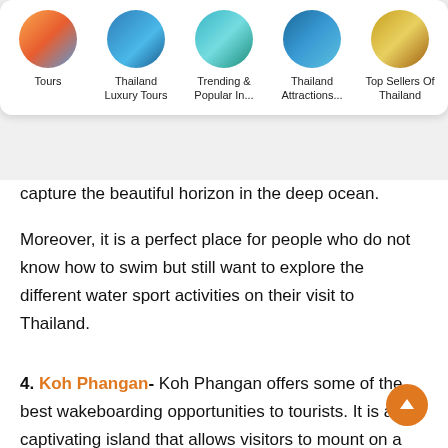Tours | Thailand Luxury Tours | Trending & Popular In... | Thailand Attractions... | Top Sellers Of Thailand
capture the beautiful horizon in the deep ocean.
Moreover, it is a perfect place for people who do not know how to swim but still want to explore the different water sport activities on their visit to Thailand.
4. Koh Phangan- Koh Phangan offers some of the best wakeboarding opportunities to tourists. It is a captivating island that allows visitors to mount on a board and zoom behind with a speedboat.
Recommended Read: Things To Do In Similan Islands